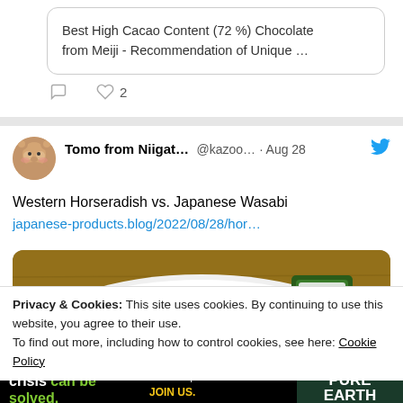Best High Cacao Content (72 %) Chocolate from Meiji - Recommendation of Unique ...
♡ 2
Tomo from Niigat... @kazoo... · Aug 28
Western Horseradish vs. Japanese Wasabi
japanese-products.blog/2022/08/28/hor…
[Figure (photo): Photo of wasabi tube and Japanese horseradish packets on a white plate on a wooden surface]
Privacy & Cookies: This site uses cookies. By continuing to use this website, you agree to their use.
To find out more, including how to control cookies, see here: Cookie Policy
Close and accept
[Figure (infographic): Pure Earth advertisement: We believe the global pollution crisis can be solved. In a world where pollution doesn't stop at borders, we can all be part of the solution. JOIN US. Pure Earth logo.]